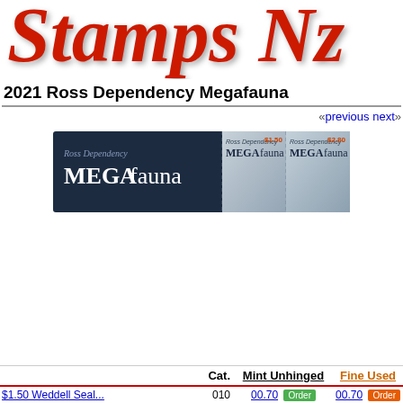Stamps NZ
2021 Ross Dependency Megafauna
«previous  next»
[Figure (photo): A dark navy banner image showing two Ross Dependency MEGAfauna stamps side by side, with 'Ross Dependency MEGAfauna' text on the left side. Two stamp tiles on the right show $1.50 and $2.80 denominations.]
|  | Cat. | Mint Unhinged | Fine Used |
| --- | --- | --- | --- |
| $1.50 Weddell Seal... | 010 | 00.70 | 00.70 |